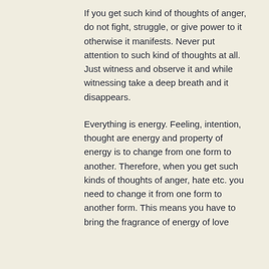If you get such kind of thoughts of anger, do not fight, struggle, or give power to it otherwise it manifests. Never put attention to such kind of thoughts at all. Just witness and observe it and while witnessing take a deep breath and it disappears.
Everything is energy. Feeling, intention, thought are energy and property of energy is to change from one form to another. Therefore, when you get such kinds of thoughts of anger, hate etc. you need to change it from one form to another form. This means you have to bring the fragrance of energy of love